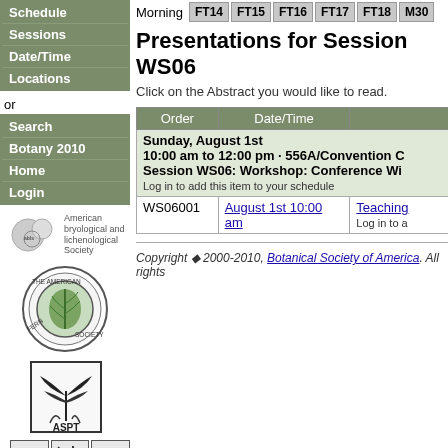Schedule
Sessions
Date/Time
Locations
or
Search
Botany 2010
Home
Login
[Figure (logo): American Bryological and Lichenological Society (abls) logo with two circles]
[Figure (logo): The American Fern Society circular logo with fern illustration]
[Figure (logo): ASPT logo with palm frond illustration]
[Figure (logo): Three small botanical society logos at the bottom]
Morning  FT14  FT15  FT16  FT17  FT18  M30
Presentations for Session WS06
Click on the Abstract you would like to read.
| Order | Date/Time |  |
| --- | --- | --- |
| Sunday, August 1st
10:00 am to 12:00 pm · 556A/Convention C
Session WS06: Workshop: Conference Wi
Log in to add this item to your schedule |  |  |
| WS06001 | August 1st 10:00 am | Teaching
Log in to a |
Copyright ◆ 2000-2010, Botanical Society of America. All rights